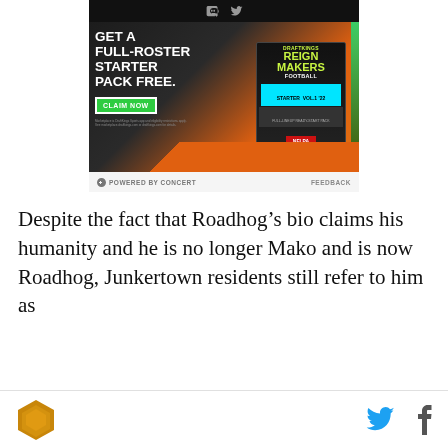[Figure (other): DraftKings NFLPA advertisement: 'GET A FULL-ROSTER STARTER PACK FREE.' with CLAIM NOW button. Shows Reign Makers Football box art. Logos for Draft Kings and NFLPA at bottom.]
POWERED BY CONCERT   FEEDBACK
Despite the fact that Roadhog’s bio claims his humanity and he is no longer Mako and is now Roadhog, Junkertown residents still refer to him as